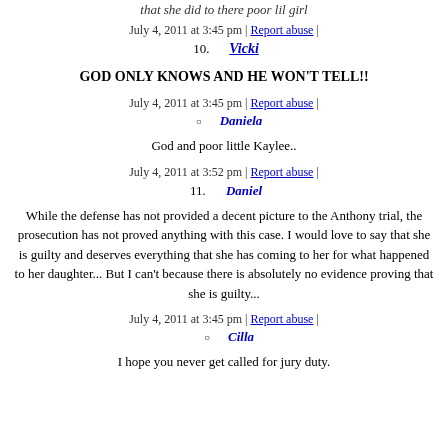that she did to there poor lil girl
July 4, 2011 at 3:45 pm | Report abuse |
10. Vicki
GOD ONLY KNOWS AND HE WON'T TELL!!
July 4, 2011 at 3:45 pm | Report abuse |
Daniela
God and poor little Kaylee..
July 4, 2011 at 3:52 pm | Report abuse |
11. Daniel
While the defense has not provided a decent picture to the Anthony trial, the prosecution has not proved anything with this case. I would love to say that she is guilty and deserves everything that she has coming to her for what happened to her daughter... But I can't because there is absolutely no evidence proving that she is guilty...
July 4, 2011 at 3:45 pm | Report abuse |
Cilla
I hope you never get called for jury duty.